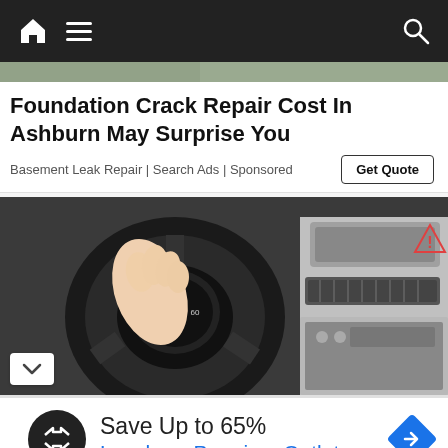Navigation bar with home, menu, and search icons
Foundation Crack Repair Cost In Ashburn May Surprise You
Basement Leak Repair | Search Ads | Sponsored
[Figure (photo): Person's hand gripping a car steering wheel, dashboard and center console visible in background]
Save Up to 65%
Leesburg Premium Outlets